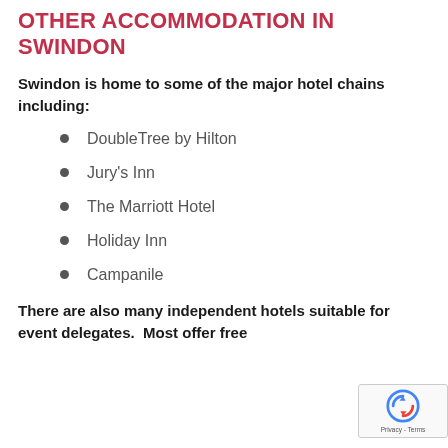OTHER ACCOMMODATION IN SWINDON
Swindon is home to some of the major hotel chains including:
DoubleTree by Hilton
Jury's Inn
The Marriott Hotel
Holiday Inn
Campanile
There are also many independent hotels suitable for event delegates.  Most offer free